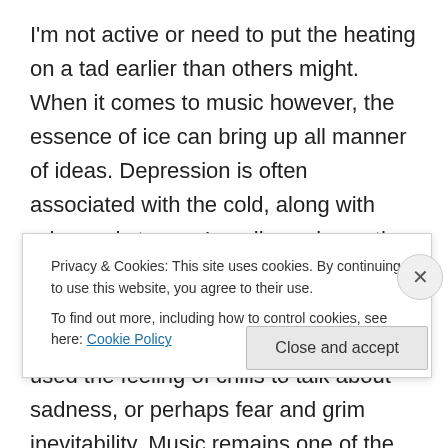I'm not active or need to put the heating on a tad earlier than others might. When it comes to music however, the essence of ice can bring up all manner of ideas. Depression is often associated with the cold, along with rains and storms. Loneliness is another emotion that goes hand in hand with the numbing touch of winter. Seasonal sadness and all that. Many artists have used the feeling of chills to talk about sadness, or perhaps fear and grim inevitability. Music remains one of the best ways of exhibiting these ideas. Have you ever listened to a song that actually gives you goosebumps? Let's see some
Privacy & Cookies: This site uses cookies. By continuing to use this website, you agree to their use. To find out more, including how to control cookies, see here: Cookie Policy
Close and accept